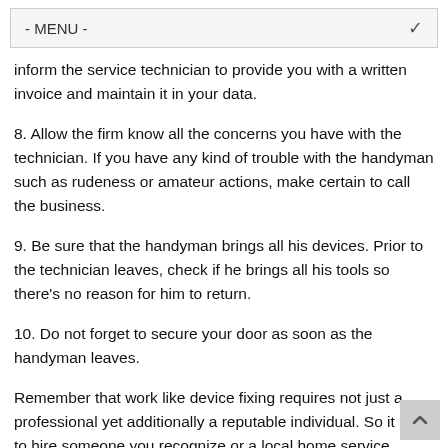- MENU -
inform the service technician to provide you with a written invoice and maintain it in your data.
8. Allow the firm know all the concerns you have with the technician. If you have any kind of trouble with the handyman such as rudeness or amateur actions, make certain to call the business.
9. Be sure that the handyman brings all his devices. Prior to the technician leaves, check if he brings all his tools so there’s no reason for him to return.
10. Do not forget to secure your door as soon as the handyman leaves.
Remember that work like device fixing requires not just a professional yet additionally a reputable individual. So it pays to hire someone you recognize or a local home service technician that’s sent out by the maker of the appliance. You can additionally hire a person from an